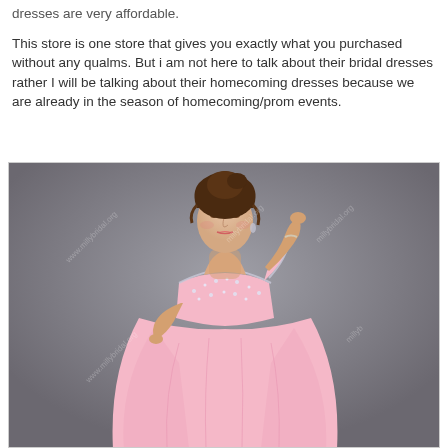dresses are very affordable.
This store is one store that gives you exactly what you purchased without any qualms. But i am not here to talk about their bridal dresses rather I will be talking about their homecoming dresses because we are already in the season of homecoming/prom events.
[Figure (photo): A woman wearing a pink one-shoulder ball gown prom/homecoming dress with beaded embellishments on the bodice. She has an updo hairstyle and is posing against a grey background. Watermark text 'www.millybridal.org' visible throughout the image.]